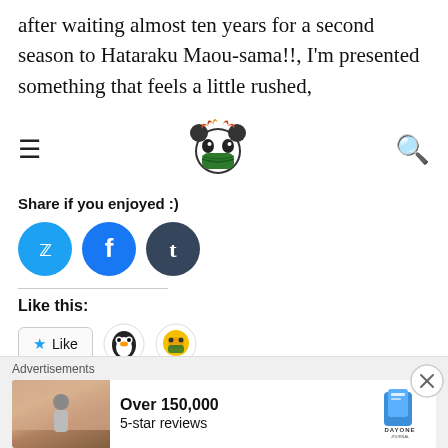after waiting almost ten years for a second season to Hataraku Maou-sama!!, I'm presented something that feels a little rushed,
[Figure (logo): Website navigation bar with hamburger menu icon on left, panda mascot logo in center, and search icon on right]
Share if you enjoyed :)
[Figure (illustration): Three social sharing circles: Twitter (light blue), Facebook (blue), Tumblr (dark slate)]
Like this:
[Figure (illustration): Like button widget with star icon and two blogger avatar icons]
2 bloggers like this.
READ MORE →
[Figure (screenshot): Advertisement banner: 'Advertisements' label above, photo of person on left, text 'Over 150,000 5-star reviews' in center, Day One Journal logo on right, with X close button]